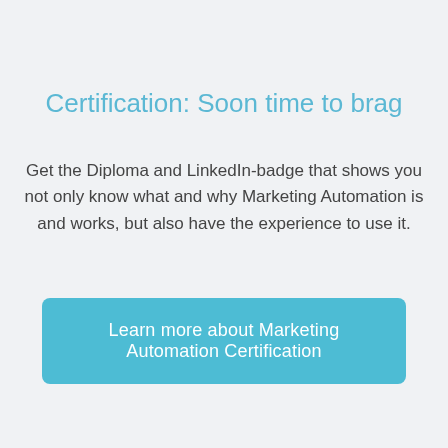Certification: Soon time to brag
Get the Diploma and LinkedIn-badge that shows you not only know what and why Marketing Automation is and works, but also have the experience to use it.
Learn more about Marketing Automation Certification